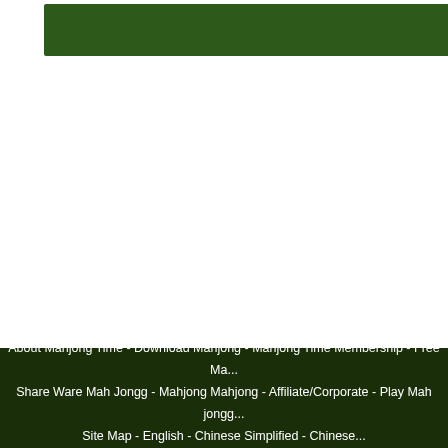[Figure (other): Green banner/header box (dark green rectangle)]
didn't improve much. It made it app... Roxan, being the best European play... place 172, while a3geffen ended at p...
Visit Mahjong Time's blog to comme...
| More
06/27/2010   Taiwanese(TW) M...
06/21/2010   RCR Global Mahj...
06/19/2010   In - Game Feature...
06/16/2010   AM Global Mahjo...
06/06/2010   MCR GMT Tourn...
First  Prev  1 ... 21  22  23 ... 41  42  43 ... 61  62  63 ... 81  82  83
About Mahjong Time - Download Mahjong - Mahjong Time Membership - Free Ma... Share Ware Mah Jongg - Mahjong Mahjong - Affiliate/Corporate - Play Mah jongg... Site Map - English - Chinese Simplified - Chinese... Copyright © 202...